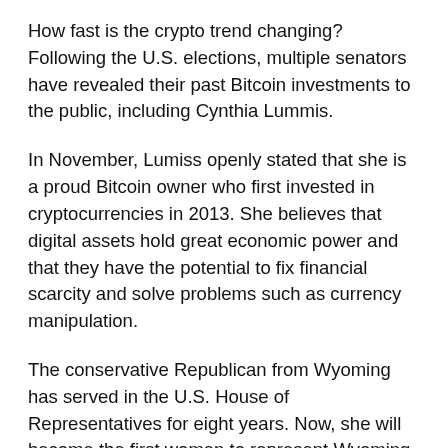How fast is the crypto trend changing? Following the U.S. elections, multiple senators have revealed their past Bitcoin investments to the public, including Cynthia Lummis.
In November, Lumiss openly stated that she is a proud Bitcoin owner who first invested in cryptocurrencies in 2013. She believes that digital assets hold great economic power and that they have the potential to fix financial scarcity and solve problems such as currency manipulation.
The conservative Republican from Wyoming has served in the U.S. House of Representatives for eight years. Now, she will become the first woman to represent Wyoming in the U.S. Senate. On several occasions, the Senator revealed that Bitcoin is an excellent store of value and can help tackle the U.S. national debt.